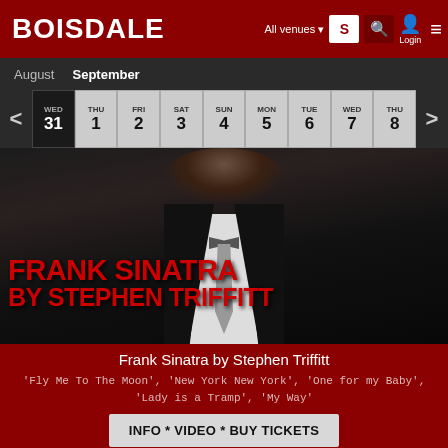BOISDALE — All venues — Login
August   September
| WED 31 | THU 1 | FRI 2 | SAT 3 | SUN 4 | MON 5 | TUE 6 | WED 7 | THU 8 |
| --- | --- | --- | --- | --- | --- | --- | --- | --- |
[Figure (photo): Black and white photo of a man in a tuxedo with bow tie, chin visible, overlaid with large red text reading FRANK SINATRA BY STEPHEN TRIFFITT]
Frank Sinatra by Stephen Triffitt
'Fly Me To The Moon', 'New York New York', 'One for my Baby', 'Lady is a Tramp', 'My Way'
INFO * VIDEO * BUY TICKETS